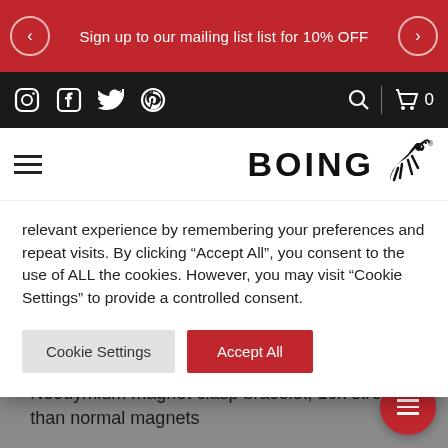Sign up to our mailing list list for 10% OFF
[Figure (screenshot): Black navigation bar with social media icons (Instagram, Facebook, Twitter, Pinterest), search icon, divider, and shopping cart with 0 items]
[Figure (logo): BOING logo with jumping goat/ram animal icon]
relevant experience by remembering your preferences and repeat visits. By clicking "Accept All", you consent to the use of ALL the cookies. However, you may visit "Cookie Settings" to provide a controlled consent.
precisionlaser etched
Neodymium magnet clasp bracelet, 10x stronger than normal magnets
Rope texture is soft and very comfortable hard-wearing
Simple surface strong clean